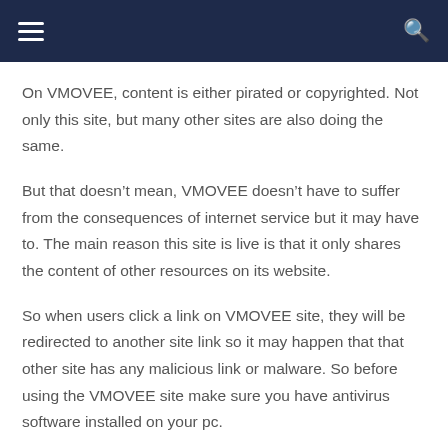Navigation bar with hamburger menu and search icon
On VMOVEE, content is either pirated or copyrighted. Not only this site, but many other sites are also doing the same.
But that doesn’t mean, VMOVEE doesn’t have to suffer from the consequences of internet service but it may have to. The main reason this site is live is that it only shares the content of other resources on its website.
So when users click a link on VMOVEE site, they will be redirected to another site link so it may happen that that other site has any malicious link or malware. So before using the VMOVEE site make sure you have antivirus software installed on your pc.
Conclusion